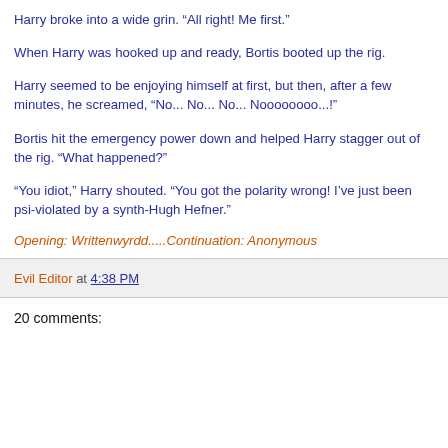Harry broke into a wide grin. “All right! Me first.”
When Harry was hooked up and ready, Bortis booted up the rig.
Harry seemed to be enjoying himself at first, but then, after a few minutes, he screamed, “No... No... No... Noooooooo...!”
Bortis hit the emergency power down and helped Harry stagger out of the rig. “What happened?”
“You idiot,” Harry shouted. “You got the polarity wrong! I’ve just been psi-violated by a synth-Hugh Hefner.”
Opening: Writtenwyrdd.....Continuation: Anonymous
Evil Editor at 4:38 PM
20 comments: